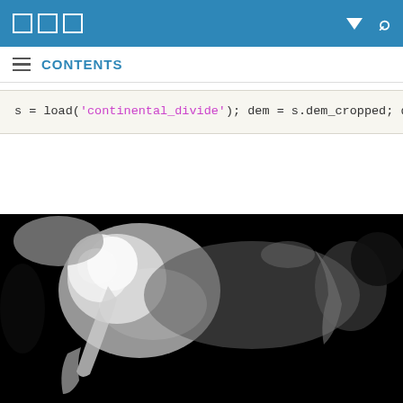☰ CONTENTS (navigation bar with icons)
s = load('continental_divide');
dem = s.dem_cropped;
display_range = [-500 3000];
imshow(dem, display_range, 'InitialMagnification',
[Figure (map): Grayscale digital elevation model (DEM) of North America showing the continental divide. The Rocky Mountains appear bright white in the western region, with darker low-elevation areas in the east and surrounding oceans shown as black.]